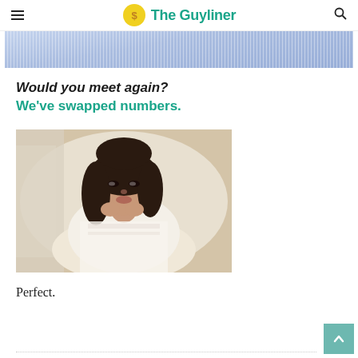The Guyliner
[Figure (screenshot): Partial screenshot of a webpage header/image strip at the top]
Would you meet again?
We've swapped numbers.
[Figure (photo): Photo of a young dark-haired woman lying in bed, wearing a white blouse with lace details, resting her hands near her chin, looking at the camera]
Perfect.